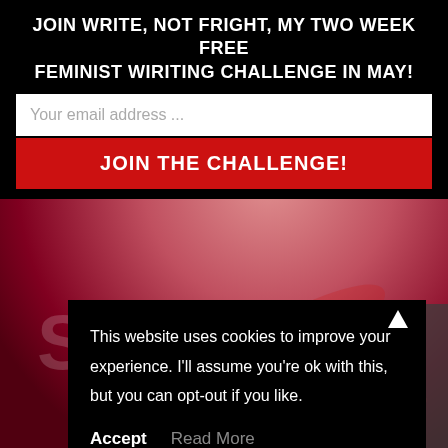JOIN WRITE, NOT FRIGHT, MY TWO WEEK FREE FEMINIST WIRITING CHALLENGE IN MAY!
Your email address ...
JOIN THE CHALLENGE!
This website uses cookies to improve your experience. I'll assume you're ok with this, but you can opt-out if you like.
Accept
Read More
[Figure (photo): Background showing partial view of a book cover with the name SHARON in large semi-transparent white letters over a red/pink artistic background]